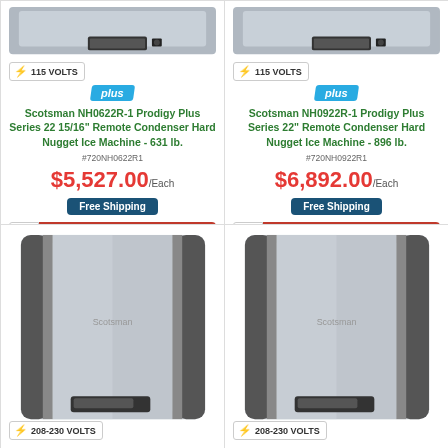[Figure (photo): Scotsman NH0622R-1 ice machine product photo with 115 VOLTS badge]
plus
Scotsman NH0622R-1 Prodigy Plus Series 22 15/16" Remote Condenser Hard Nugget Ice Machine - 631 lb.
#720NH0622R1
$5,527.00 /Each
Free Shipping
1  Add to Cart
[Figure (photo): Scotsman NH0922R-1 ice machine product photo with 115 VOLTS badge]
plus
Scotsman NH0922R-1 Prodigy Plus Series 22" Remote Condenser Hard Nugget Ice Machine - 896 lb.
#720NH0922R1
$6,892.00 /Each
Free Shipping
1  Add to Cart
[Figure (photo): Scotsman ice machine product photo with 208-230 VOLTS badge]
[Figure (photo): Scotsman ice machine product photo with 208-230 VOLTS badge]